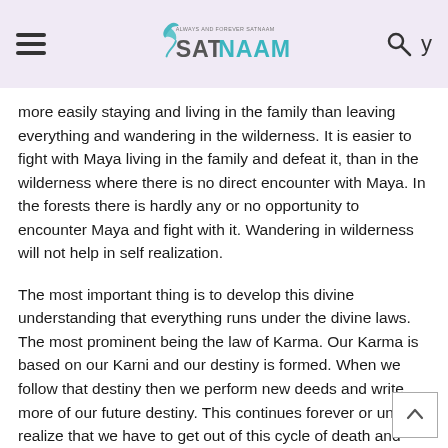SATNAAM - Always and Forever Satnaam
more easily staying and living in the family than leaving everything and wandering in the wilderness. It is easier to fight with Maya living in the family and defeat it, than in the wilderness where there is no direct encounter with Maya.  In the forests there is hardly any or no opportunity to encounter Maya and fight with it. Wandering in wilderness will not help in self realization.
The most important thing is to develop this divine understanding that everything runs under the divine laws.  The most prominent being the law of Karma.  Our Karma is based on our Karni and our destiny is formed. When we follow that destiny then we perform new deeds and write more of our future destiny.  This continues forever or until we realize that we have to get out of this cycle of death and birth.  Then we start working towards achieving salvation.